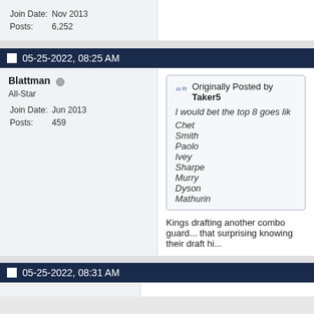| Join Date: | Nov 2013 |
| Posts: | 6,252 |
05-25-2022, 08:25 AM
Blattman
All-Star
Join Date: Jun 2013
Posts: 459
Originally Posted by Taker5
I would bet the top 8 goes like
Chet
Smith
Paolo
Ivey
Sharpe
Murry
Dyson
Mathurin
Kings drafting another combo guard... that surprising knowing their draft hi...
05-25-2022, 08:31 AM